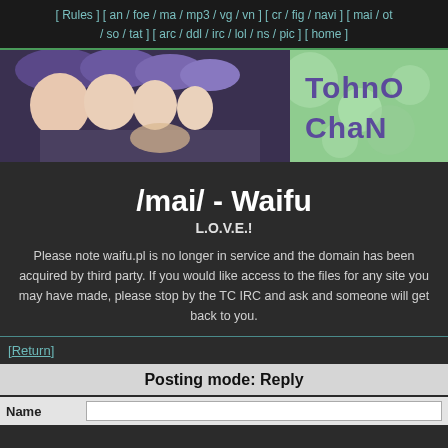[ Rules ] [ an / foe / ma / mp3 / vg / vn ] [ cr / fig / navi ] [ mai / ot / so / tat ] [ arc / ddl / irc / lol / ns / pic ] [ home ]
[Figure (illustration): Tohno-Chan banner with anime characters and green background]
/mai/ - Waifu
L.O.V.E.!
Please note waifu.pl is no longer in service and the domain has been acquired by third party. If you would like access to the files for any site you may have made, please stop by the TC IRC and ask and someone will get back to you.
[Return]
Posting mode: Reply
Name